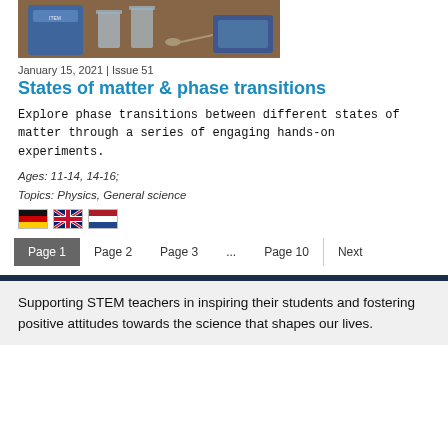[Figure (photo): Photo of science experiment with water glasses, a spoon, and containers on a table]
January 15, 2021 | Issue 51
States of matter & phase transitions
Explore phase transitions between different states of matter through a series of engaging hands-on experiments.
Ages: 11-14, 14-16;
Topics: Physics, General science
[Figure (other): German, UK, and Netherlands flag icons]
Page 1  Page 2  Page 3  ...  Page 10  Next
Supporting STEM teachers in inspiring their students and fostering positive attitudes towards the science that shapes our lives.